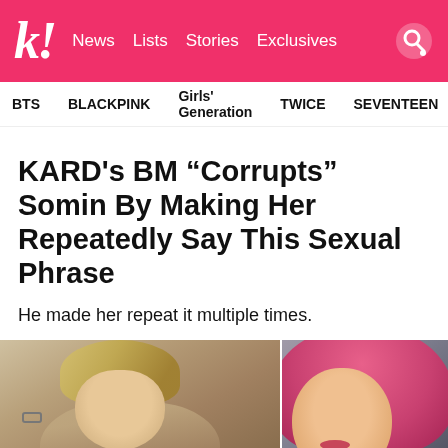k! News  Lists  Stories  Exclusives
BTS  BLACKPINK  Girls' Generation  TWICE  SEVENTEEN
KARD's BM “Corrupts” Somin By Making Her Repeatedly Say This Sexual Phrase
He made her repeat it multiple times.
[Figure (photo): Split photo: left side shows a shirtless male with blonde hair taking a mirror selfie with a phone; right side shows a female with long pink hair.]